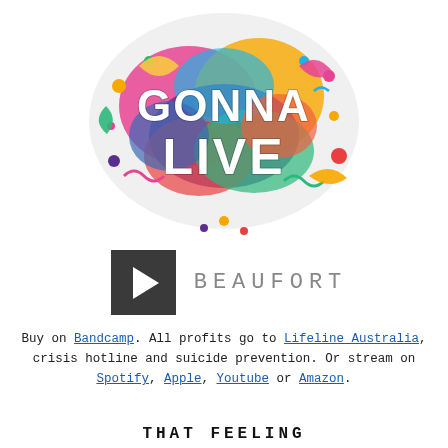[Figure (illustration): Colorful album artwork with text 'GONNA LIVE' embedded in a cloud of colorful abstract shapes and confetti-like elements]
[Figure (other): Music player row with dark play button on left and 'BEAUFORT' text in gray spaced letters on right]
Buy on Bandcamp. All profits go to Lifeline Australia, crisis hotline and suicide prevention. Or stream on Spotify, Apple, Youtube or Amazon.
THAT FEELING
Single.